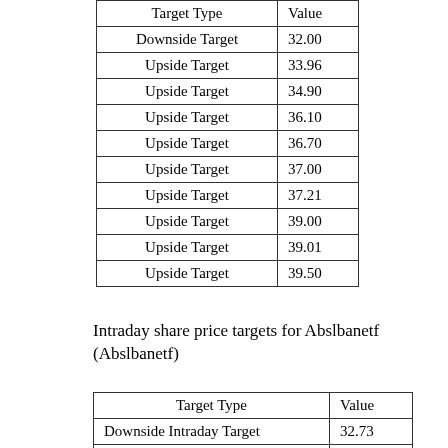| Target Type | Value |
| --- | --- |
| Downside Target | 32.00 |
| Upside Target | 33.96 |
| Upside Target | 34.90 |
| Upside Target | 36.10 |
| Upside Target | 36.70 |
| Upside Target | 37.00 |
| Upside Target | 37.21 |
| Upside Target | 39.00 |
| Upside Target | 39.01 |
| Upside Target | 39.50 |
Intraday share price targets for Abslbanetf (Abslbanetf)
| Target Type | Value |
| --- | --- |
| Downside Intraday Target | 32.73 |
| Downside Intraday Target | 31.88 |